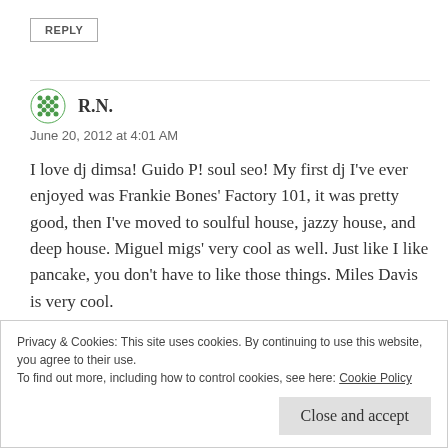REPLY
R.N.
June 20, 2012 at 4:01 AM
I love dj dimsa! Guido P! soul seo! My first dj I've ever enjoyed was Frankie Bones' Factory 101, it was pretty good, then I've moved to soulful house, jazzy house, and deep house. Miguel migs' very cool as well. Just like I like pancake, you don't have to like those things. Miles Davis is very cool.
Privacy & Cookies: This site uses cookies. By continuing to use this website, you agree to their use.
To find out more, including how to control cookies, see here: Cookie Policy
Close and accept